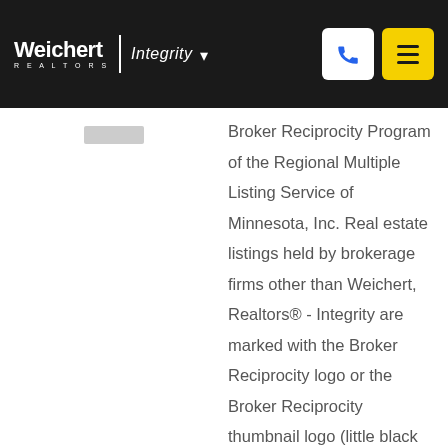[Figure (logo): Weichert Realtors - Integrity logo with phone and menu buttons in header]
Broker Reciprocity Program of the Regional Multiple Listing Service of Minnesota, Inc. Real estate listings held by brokerage firms other than Weichert, Realtors® - Integrity are marked with the Broker Reciprocity logo or the Broker Reciprocity thumbnail logo (little black house) and detailed information about them includes the name of the listing brokers. The broker providing these